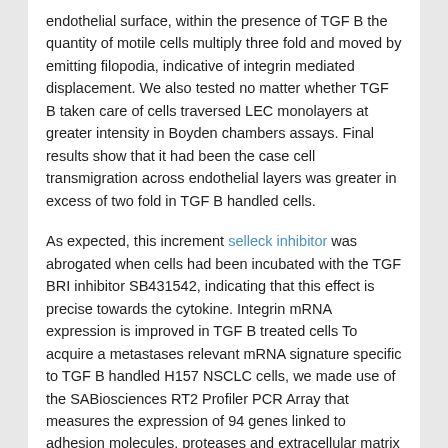endothelial surface, within the presence of TGF B the quantity of motile cells multiply three fold and moved by emitting filopodia, indicative of integrin mediated displacement. We also tested no matter whether TGF B taken care of cells traversed LEC monolayers at greater intensity in Boyden chambers assays. Final results show that it had been the case cell transmigration across endothelial layers was greater in excess of two fold in TGF B handled cells.
As expected, this increment selleck inhibitor was abrogated when cells had been incubated with the TGF BRI inhibitor SB431542, indicating that this effect is precise towards the cytokine. Integrin mRNA expression is improved in TGF B treated cells To acquire a metastases relevant mRNA signature specific to TGF B handled H157 NSCLC cells, we made use of the SABiosciences RT2 Profiler PCR Array that measures the expression of 94 genes linked to adhesion molecules, proteases and extracellular matrix parts. Interestingly ample, TGF B induced increases within the expression of many